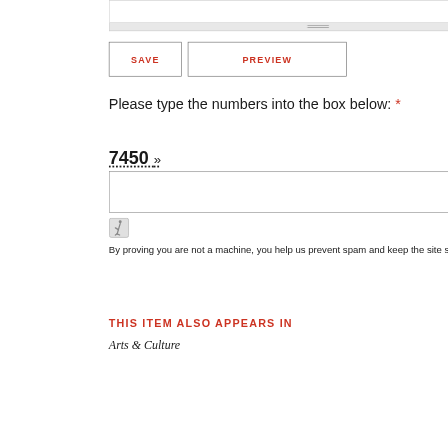[Figure (screenshot): Top portion of a textarea form field with resize handle bar below it]
SAVE   PREVIEW
Please type the numbers into the box below: *
7450 »
[Figure (other): Empty text input box for CAPTCHA entry]
[Figure (other): Accessibility (wheelchair) icon in gray square border]
By proving you are not a machine, you help us prevent spam and keep the site secure.
THIS ITEM ALSO APPEARS IN
Arts & Culture